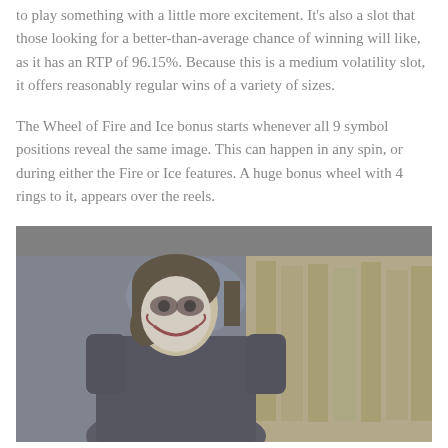to play something with a little more excitement. It's also a slot that those looking for a better-than-average chance of winning will like, as it has an RTP of 96.15%. Because this is a medium volatility slot, it offers reasonably regular wins of a variety of sizes.
The Wheel of Fire and Ice bonus starts whenever all 9 symbol positions reveal the same image. This can happen in any spin, or during either the Fire or Ice features. A huge bonus wheel with 4 rings to it, appears over the reels.
[Figure (photo): A faded/muted photograph of a person dressed as the Joker (dark makeup, pale face, dark clothing) standing in front of what appears to be stacks of cash or wooden boxes in a dimly lit scene.]